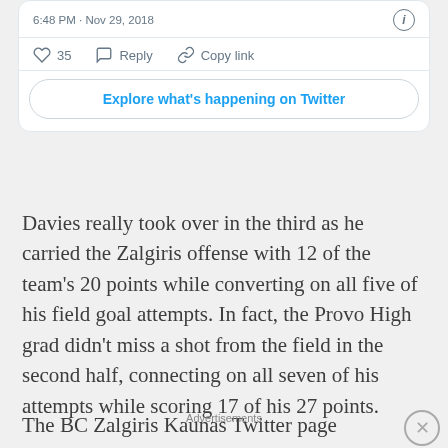[Figure (screenshot): Twitter/X tweet card snippet showing timestamp '6:48 PM · Nov 29, 2018', like count '35', Reply and Copy link actions, and 'Explore what's happening on Twitter' button]
Davies really took over in the third as he carried the Zalgiris offense with 12 of the team's 20 points while converting on all five of his field goal attempts. In fact, the Provo High grad didn't miss a shot from the field in the second half, connecting on all seven of his attempts while scoring 17 of his 27 points.
The BC Zalgiris Kaunas Twitter page shared
Advertisements